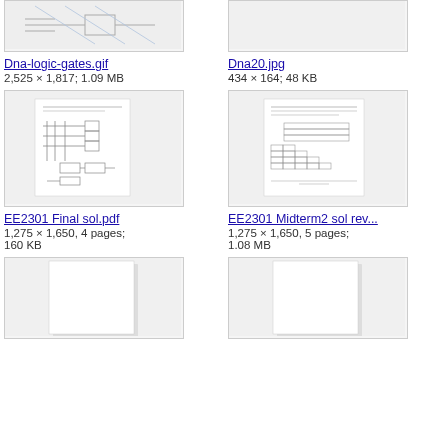[Figure (screenshot): Thumbnail of Dna-logic-gates.gif showing a circuit/logic gate diagram]
[Figure (screenshot): Thumbnail of Dna20.jpg (mostly blank/white)]
Dna-logic-gates.gif
2,525 × 1,817; 1.09 MB
Dna20.jpg
434 × 164; 48 KB
[Figure (screenshot): Thumbnail of EE2301 Final sol.pdf showing a multi-page document with circuit diagrams]
[Figure (screenshot): Thumbnail of EE2301 Midterm2 sol rev... showing a document page with tables]
EE2301 Final sol.pdf
1,275 × 1,650, 4 pages; 160 KB
EE2301 Midterm2 sol rev...
1,275 × 1,650, 5 pages; 1.08 MB
[Figure (screenshot): Thumbnail of another document (partially visible)]
[Figure (screenshot): Thumbnail of another document (partially visible)]